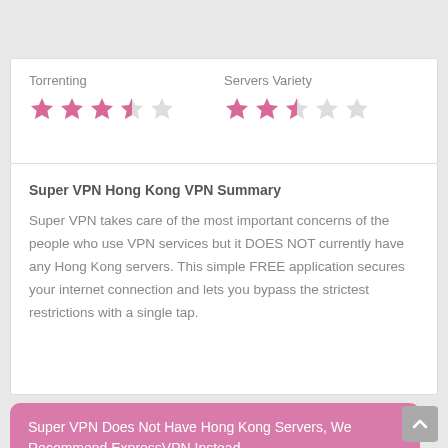Torrenting
[Figure (infographic): Star rating for Torrenting: 3.5 out of 5 stars (3 full pink stars, 1 half pink/grey star, 1 empty grey star)]
Servers Variety
[Figure (infographic): Star rating for Servers Variety: 2.5 out of 5 stars (2 full pink stars, 1 half pink/grey star, 2 empty grey stars)]
Super VPN Hong Kong VPN Summary
Super VPN takes care of the most important concerns of the people who use VPN services but it DOES NOT currently have any Hong Kong servers. This simple FREE application secures your internet connection and lets you bypass the strictest restrictions with a single tap.
Super VPN Does Not Have Hong Kong Servers, We Recommend ExpressVPN Instead